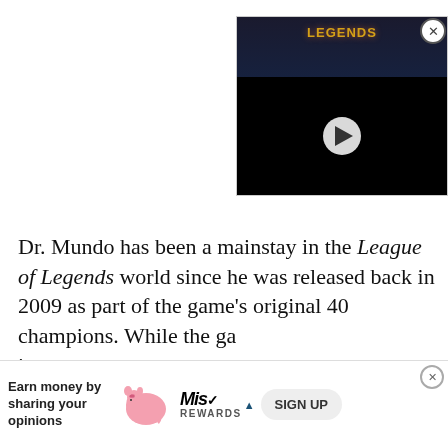[Figure (screenshot): Video player showing League of Legends content with LEGENDS title text in gold and a play button on black background, with close (X) button in top right corner]
Dr. Mundo has been a mainstay in the League of Legends world since he was released back in 2009 as part of the game's original 40 champions. While the ga... in terms ...st as
[Figure (screenshot): Advertisement banner: Earn money by sharing your opinions, Miss Rewards brand with pig illustration and SIGN UP button]